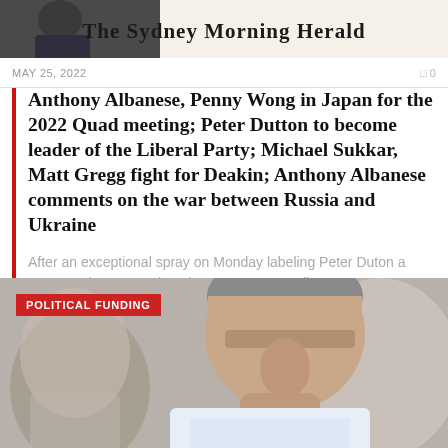[Figure (photo): Top banner image showing The Sydney Morning Herald masthead/logo with partial view of a person in a suit on the left side]
MAY 25, 2022
Anthony Albanese, Penny Wong in Japan for the 2022 Quad meeting; Peter Dutton to become leader of the Liberal Party; Michael Sukkar, Matt Gregg fight for Deakin; Anthony Albanese comments on the war between Russia and Ukraine
After an exceptional spray on Monday labeling Peter Duton a conservative “extremist”, the Western Australian…
[Figure (photo): Close-up photo of a middle-aged man with grey hair, resting his fist near his chin in a contemplative pose, wearing a white shirt. Tagged with POLITICAL FUNDING label in red.]